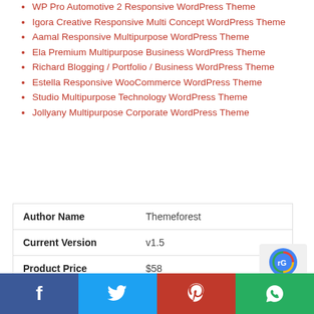WP Pro Automotive 2 Responsive WordPress Theme
Igora Creative Responsive Multi Concept WordPress Theme
Aamal Responsive Multipurpose WordPress Theme
Ela Premium Multipurpose Business WordPress Theme
Richard Blogging / Portfolio / Business WordPress Theme
Estella Responsive WooCommerce WordPress Theme
Studio Multipurpose Technology WordPress Theme
Jollyany Multipurpose Corporate WordPress Theme
| Author Name | Themeforest |
| --- | --- |
| Current Version | v1.5 |
| Product Price | $58 |
f  t  p  w